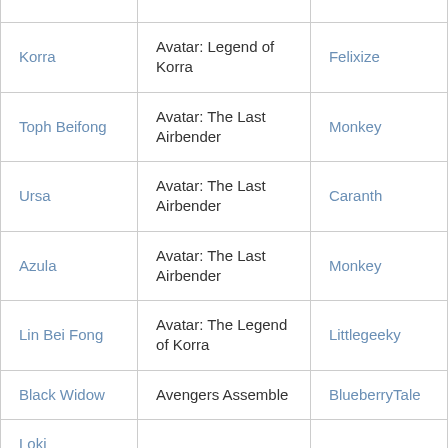| Korra | Avatar: Legend of Korra | Felixize |
| Toph Beifong | Avatar: The Last Airbender | Monkey |
| Ursa | Avatar: The Last Airbender | Caranth |
| Azula | Avatar: The Last Airbender | Monkey |
| Lin Bei Fong | Avatar: The Legend of Korra | Littlegeeky |
| Black Widow | Avengers Assemble | BlueberryTale |
| Loki Laufeyson | Avengers Assemble | SephNoir |
|  | Avengers |  |